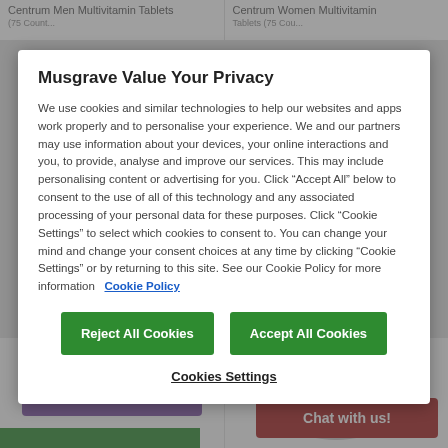Centrum Men Multivitamin Tablets
Centrum Women Multivitamin Tablets
Musgrave Value Your Privacy
We use cookies and similar technologies to help our websites and apps work properly and to personalise your experience. We and our partners may use information about your devices, your online interactions and you, to provide, analyse and improve our services. This may include personalising content or advertising for you. Click “Accept All” below to consent to the use of all of this technology and any associated processing of your personal data for these purposes. Click “Cookie Settings” to select which cookies to consent to. You can change your mind and change your consent choices at any time by clicking “Cookie Settings” or by returning to this site. See our Cookie Policy for more information  Cookie Policy
Reject All Cookies
Accept All Cookies
Cookies Settings
Chat with us!